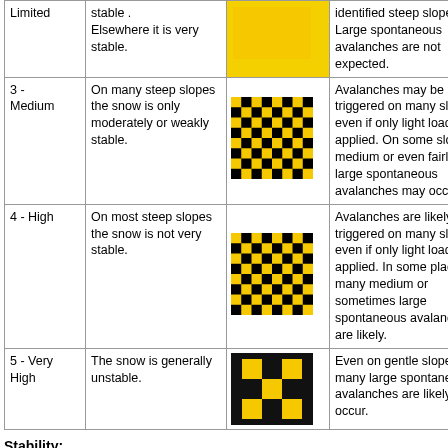| Danger Level | Snow Stability | Symbol | Avalanche Probability |
| --- | --- | --- | --- |
| Limited | ...very stable. Elsewhere it is very stable. | (yellow solid) | identified steep slopes. Large spontaneous avalanches are not expected. |
| 3 - Medium | On many steep slopes the snow is only moderately or weakly stable. | (yellow-black checker) | Avalanches may be triggered on many slopes even if only light loads are applied. On some slopes, medium or even fairly large spontaneous avalanches may occur. |
| 4 - High | On most steep slopes the snow is not very stable. | (yellow-black checker darker) | Avalanches are likely to be triggered on many slopes even if only light loads are applied. In some places, many medium or sometimes large spontaneous avalanches are likely. |
| 5 - Very High | The snow is generally unstable. | (black solid) | Even on gentle slopes, many large spontaneous avalanches are likely to occur. |
Stability:
Generally described in more detail in the avalanche bulletin (regarding the altitude, aspect, type of terrain etc.)